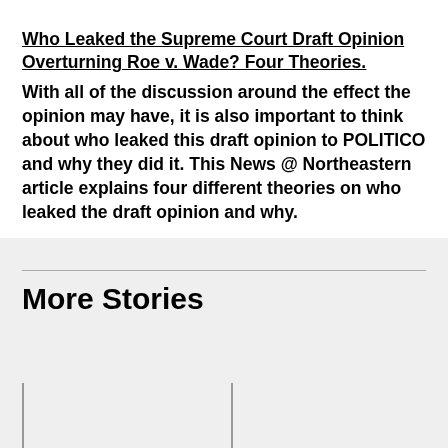Who Leaked the Supreme Court Draft Opinion Overturning Roe v. Wade? Four Theories.
With all of the discussion around the effect the opinion may have, it is also important to think about who leaked this draft opinion to POLITICO and why they did it. This News @ Northeastern article explains four different theories on who leaked the draft opinion and why.
More Stories